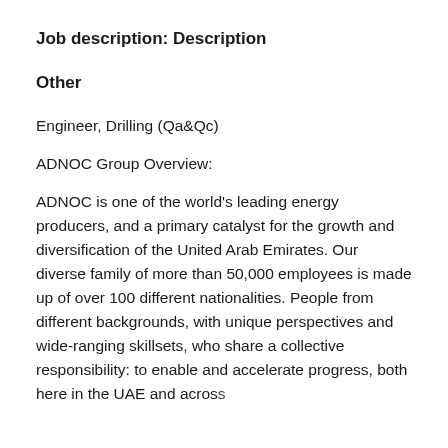Job description: Description
Other
Engineer, Drilling (Qa&Qc)
ADNOC Group Overview:
ADNOC is one of the world's leading energy producers, and a primary catalyst for the growth and diversification of the United Arab Emirates. Our diverse family of more than 50,000 employees is made up of over 100 different nationalities. People from different backgrounds, with unique perspectives and wide-ranging skillsets, who share a collective responsibility: to enable and accelerate progress, both here in the UAE and across